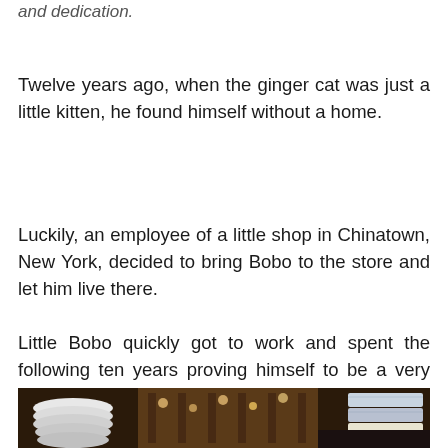and dedication.
Twelve years ago, when the ginger cat was just a little kitten, he found himself without a home.
Luckily, an employee of a little shop in Chinatown, New York, decided to bring Bobo to the store and let him live there.
Little Bobo quickly got to work and spent the following ten years proving himself to be a very dependable employee.
[Figure (photo): Interior of a shop showing stacked white plates and dishes on the left, wooden shelving with items in the background, and neatly folded towels or linens on the right side.]